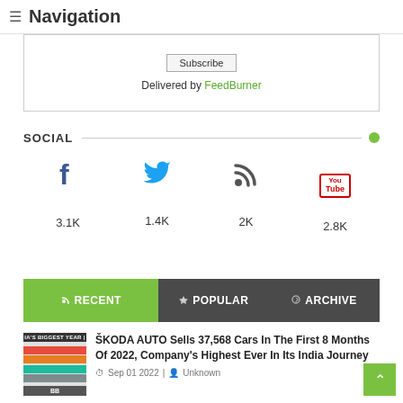≡ Navigation
Subscribe | Delivered by FeedBurner
SOCIAL
Facebook 3.1K | Twitter 1.4K | RSS 2K | YouTube 2.8K
RECENT | POPULAR | ARCHIVE
ŠKODA AUTO Sells 37,568 Cars In The First 8 Months Of 2022, Company's Highest Ever In Its India Journey
Sep 01 2022 | Unknown